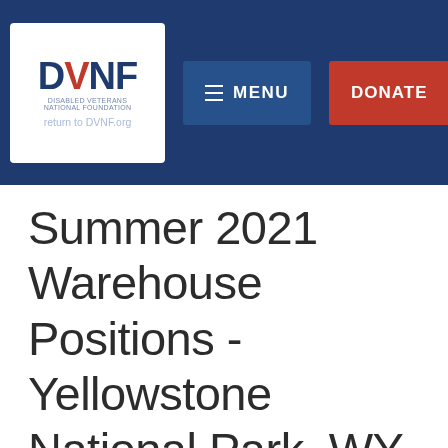[Figure (logo): DVNF (Disabled Veterans National Foundation) logo with circular emblem, white background box. Below: 'return to DVNF.org' link text.]
MENU  DONATE
Summer 2021 Warehouse Positions - Yellowstone National Park, WY - Xanterra - Yellowstone National